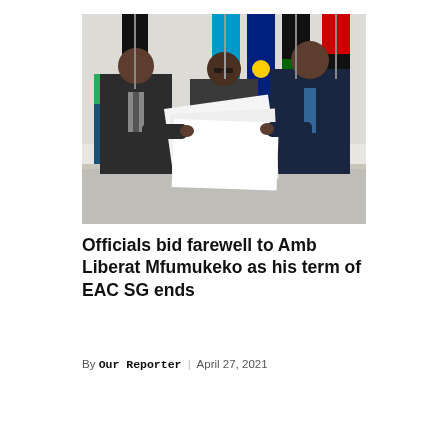[Figure (photo): Three officials in suits standing indoors with multiple national flags in the background. Two officials on the left and right are exchanging/handing over documents, while one official stands in the center. Water bottles are visible on a table in the foreground.]
Officials bid farewell to Amb Liberat Mfumukeko as his term of EAC SG ends
By Our Reporter | April 27, 2021